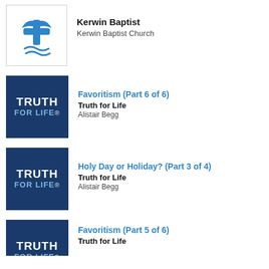[Figure (logo): Kerwin Baptist Church logo - blue cross/book symbol on white background]
Kerwin Baptist
Kerwin Baptist Church
[Figure (logo): Truth for Life logo - dark navy blue square with white TRUTH FOR LIFE text]
Favoritism (Part 6 of 6)
Truth for Life
Alistair Begg
[Figure (logo): Truth for Life logo - dark navy blue square with white TRUTH FOR LIFE text]
Holy Day or Holiday? (Part 3 of 4)
Truth for Life
Alistair Begg
[Figure (logo): Truth for Life logo - dark navy blue square with white TRUTH FOR LIFE text (partially visible)]
Favoritism (Part 5 of 6)
Truth for Life